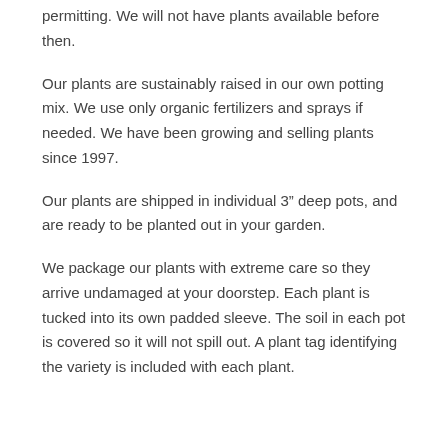permitting. We will not have plants available before then.
Our plants are sustainably raised in our own potting mix. We use only organic fertilizers and sprays if needed. We have been growing and selling plants since 1997.
Our plants are shipped in individual 3” deep pots, and are ready to be planted out in your garden.
We package our plants with extreme care so they arrive undamaged at your doorstep. Each plant is tucked into its own padded sleeve. The soil in each pot is covered so it will not spill out. A plant tag identifying the variety is included with each plant.